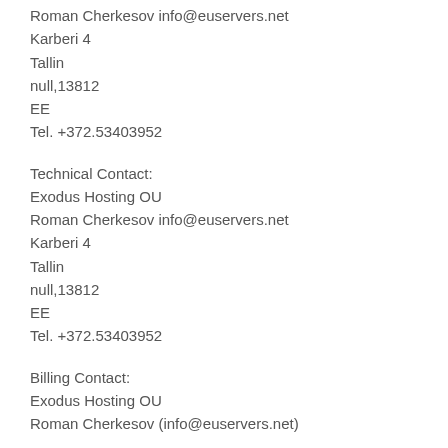Roman Cherkesov info@euservers.net
Karberi 4
Tallin
null,13812
EE
Tel. +372.53403952
Technical Contact:
Exodus Hosting OU
Roman Cherkesov info@euservers.net
Karberi 4
Tallin
null,13812
EE
Tel. +372.53403952
Billing Contact:
Exodus Hosting OU
Roman Cherkesov (info@euservers.net)